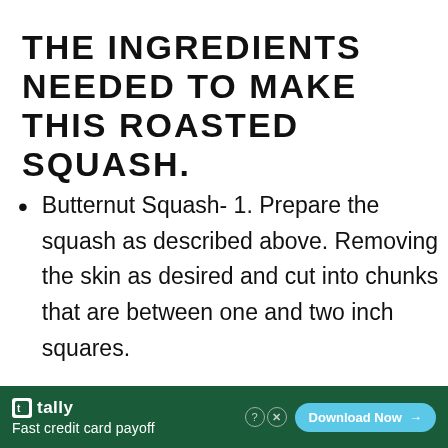THE INGREDIENTS NEEDED TO MAKE THIS ROASTED SQUASH.
Butternut Squash- 1. Prepare the squash as described above. Removing the skin as desired and cut into chunks that are between one and two inch squares.
Olive Oil– 2 tablespoons
[Figure (other): Advertisement banner: Tally app — Fast credit card payoff. Download Now button.]